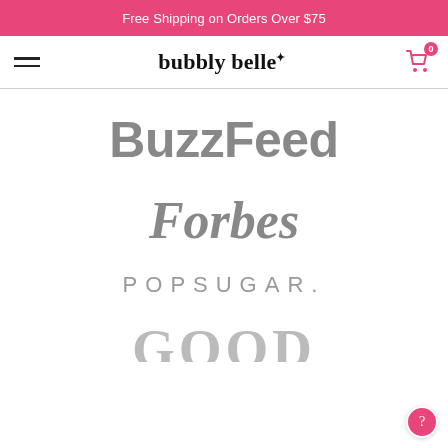Free Shipping on Orders Over $75
[Figure (logo): Bubbly Belle navigation bar with hamburger menu, brand logo, and cart icon showing 0 items]
[Figure (logo): BuzzFeed logo in gray]
[Figure (logo): Forbes logo in gray italic serif]
[Figure (logo): POPSUGAR logo in gray spaced capitals]
[Figure (logo): Partial logo at bottom (Good), shown cropped]